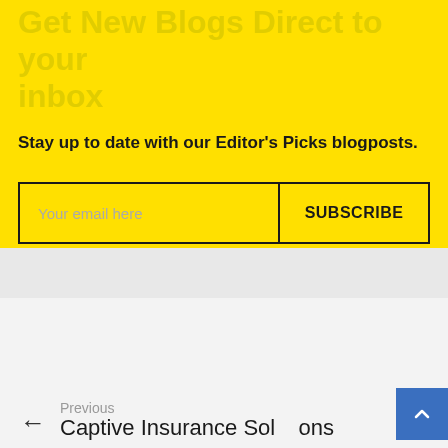Get New Blogs Direct to your inbox
Stay up to date with our Editor’s Picks blogposts.
Your email here
SUBSCRIBE
Previous
Captive Insurance Solutions